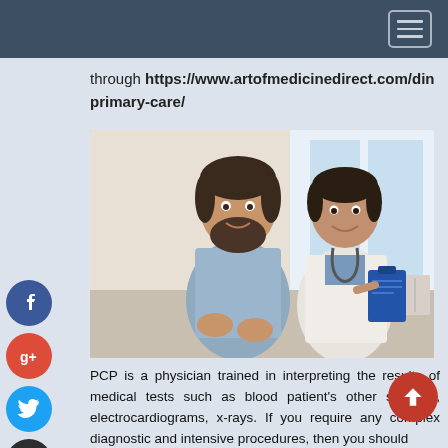through https://www.artofmedicinedirect.com/direct-primary-care/
[Figure (photo): A bearded male patient sitting and smiling with a doctor in a white coat who is holding a blue clipboard, in a medical office setting.]
PCP is a physician trained in interpreting the results of medical tests such as blood patient's other samples, electrocardiograms, x-rays. If you require any complex diagnostic and intensive procedures, then you should